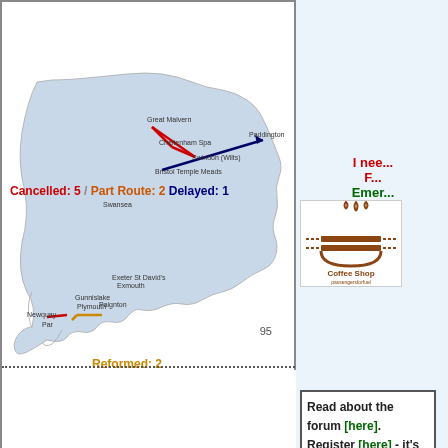[Figure (map): Map of Wales/Southwest England showing train routes. Red lines indicate cancelled routes (5), orange/red dashed for part route (2), blue arrow for delayed route (1), orange for reformed (2). Locations labeled include Great Malvern, Cheltenham Spa, Swindon (Wilts), Paddington, Bristol Temple Meads, Swansea, Exeter St David's/Exmouth, Gunnislake, Plymouth, Paignton, Newquay, Par.]
Cancelled: 5  Part Route: 2  Delayed: 1
Reformed: 2
95
[Figure (logo): Coffee Shop logo with steam icon and text 'Coffee Shop' and 'passengersforfuel']
I need... F... Emer... Ab... Wa... Can...
Read about the forum [here]. Register [here] - it's free. What do I gain...